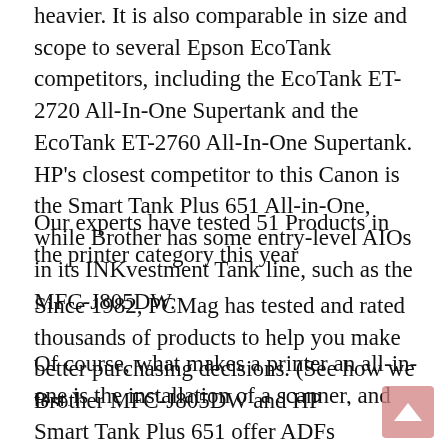heavier. It is also comparable in size and scope to several Epson EcoTank competitors, including the EcoTank ET-2720 All-In-One Supertank and the EcoTank ET-2760 All-In-One Supertank. HP's closest competitor to this Canon is the Smart Tank Plus 651 All-in-One, while Brother has some entry-level AIOs in its INKvestment Tank line, such as the MFC-J805DW.
Our experts have tested 51 Products in the printer category this year
Since 1982, PCMag has tested and rated thousands of products to help you make better purchasing decisions. (See how we test.)
Of course, what makes a printer an all-in-one is the installation of a scanner, and the performance of the scanner depends on whether it is equipped with an automatic document feeder (ADF) for processing multi-page documents. Like its predecessor, the Pixma G3260 does not have an ADF, which means you have to place long documents side by side (or side-by-side) on the scanning glass. Of the above devices, only the Brother MFC-J805DW and HP Smart Tank Plus 651 offer ADFs